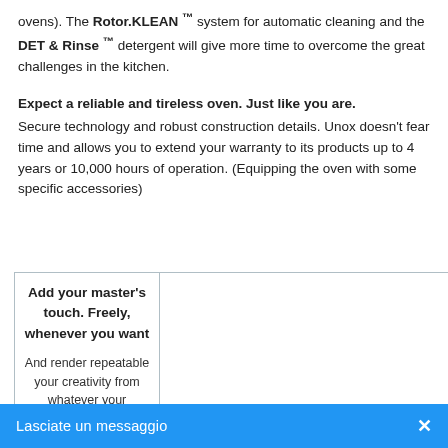ovens). The Rotor.KLEAN ™ system for automatic cleaning and the DET & Rinse ™ detergent will give more time to overcome the great challenges in the kitchen.
Expect a reliable and tireless oven. Just like you are.
Secure technology and robust construction details. Unox doesn't fear time and allows you to extend your warranty to its products up to 4 years or 10,000 hours of operation. (Equipping the oven with some specific accessories)
| Add your master's touch. Freely, whenever you want |  |
| And render repeatable your creativity from whatever your |  |
Lasciate un messaggio ✕